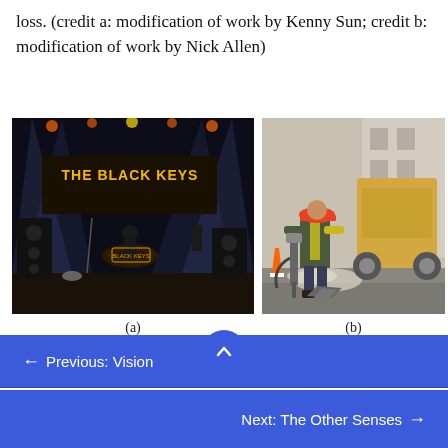loss. (credit a: modification of work by Kenny Sun; credit b: modification of work by Nick Allen)
[Figure (photo): Concert photo showing The Black Keys performing live on stage with dramatic lighting and illuminated band name sign]
(a)
[Figure (photo): Construction worker using a jackhammer on pavement with heavy machinery in background]
(b)
Given the mechanical nature by which the sound wave
← Previous: Vision
Next: The Other Senses →